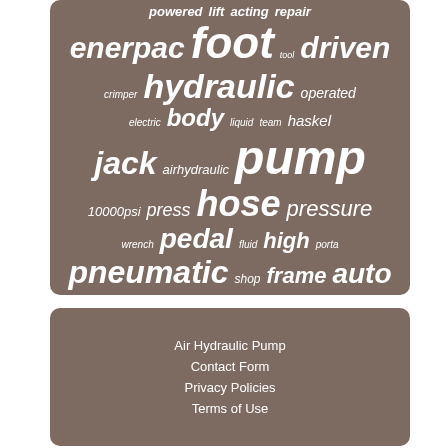[Figure (infographic): Word cloud on brown/taupe background featuring hydraulic pump related terms: powered, lift, acting, repair, enerpac, foot, driven, tool, hydraulic, crimper, operated, electric, body, liquid, team, haskel, jack, airhydraulic, pump, 10000psi, press, hose, pressure, wrench, pedal, fluid, high, porta, pneumatic, shop, frame, auto]
Air Hydraulic Pump
Contact Form
Privacy Policies
Terms of Use